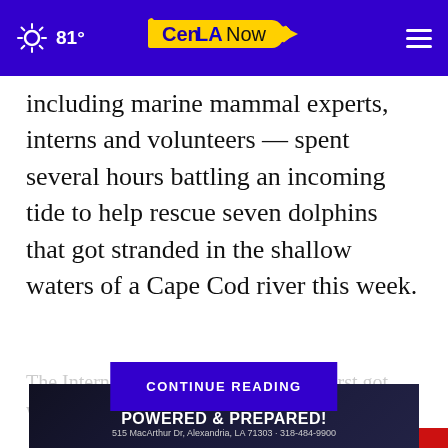81° CenLA Now
including marine mammal experts, interns and volunteers — spent several hours battling an incoming tide to help rescue seven dolphins that got stranded in the shallow waters of a Cape Cod river this week.
The Internatio...re first got word that th...ine not
[Figure (screenshot): Blue 'CONTINUE READING' button overlaid on faded article text]
[Figure (logo): The Salvation Army Thrift Store advertisement with red shield logo and THRIFT STORE text]
[Figure (infographic): HB HomeBase advertisement: POWERED & PREPARED! 515 MacArthur Dr, Alexandria, LA 71303 318-484-9900]